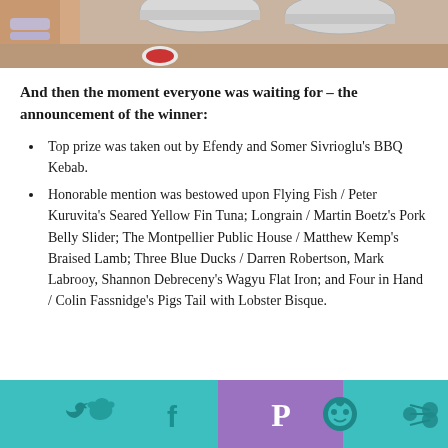[Figure (photo): Partial photo showing person with bracelets near silver dome-covered dishes on a table]
And then the moment everyone was waiting for – the announcement of the winner:
Top prize was taken out by Efendy and Somer Sivrioglu's BBQ Kebab.
Honorable mention was bestowed upon Flying Fish / Peter Kuruvita's Seared Yellow Fin Tuna; Longrain / Martin Boetz's Pork Belly Slider; The Montpellier Public House / Matthew Kemp's Braised Lamb; Three Blue Ducks / Darren Robertson, Mark Labrooy, Shannon Debreceny's Wagyu Flat Iron; and Four in Hand / Colin Fassnidge's Pigs Tail with Lobster Bisque.
[Figure (screenshot): Social media share bar with teal background containing Twitter, Pinterest (purple zone), Facebook, Reddit, and share icons]